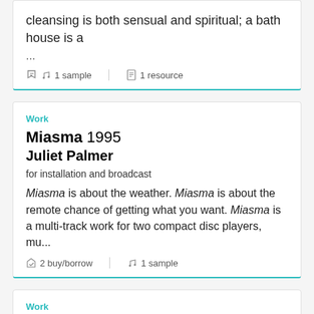cleansing is both sensual and spiritual; a bath house is a
...
1 sample   1 resource
Work
Miasma  1995
Juliet Palmer
for installation and broadcast
Miasma is about the weather. Miasma is about the remote chance of getting what you want. Miasma is a multi-track work for two compact disc players, mu...
2 buy/borrow   1 sample
Work